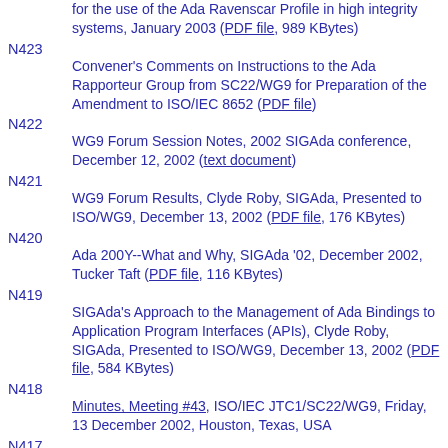for the use of the Ada Ravenscar Profile in high integrity systems, January 2003 (PDF file, 989 KBytes)
N423 Convener's Comments on Instructions to the Ada Rapporteur Group from SC22/WG9 for Preparation of the Amendment to ISO/IEC 8652 (PDF file)
N422 WG9 Forum Session Notes, 2002 SIGAda conference, December 12, 2002 (text document)
N421 WG9 Forum Results, Clyde Roby, SIGAda, Presented to ISO/WG9, December 13, 2002 (PDF file, 176 KBytes)
N420 Ada 200Y--What and Why, SIGAda '02, December 2002, Tucker Taft (PDF file, 116 KBytes)
N419 SIGAda's Approach to the Management of Ada Bindings to Application Program Interfaces (APIs), Clyde Roby, SIGAda, Presented to ISO/WG9, December 13, 2002 (PDF file, 584 KBytes)
N418 Minutes, Meeting #43, ISO/IEC JTC1/SC22/WG9, Friday, 13 December 2002, Houston, Texas, USA
N417 Charter of the ASIS Rapporteur Group (ASISRG)
N416